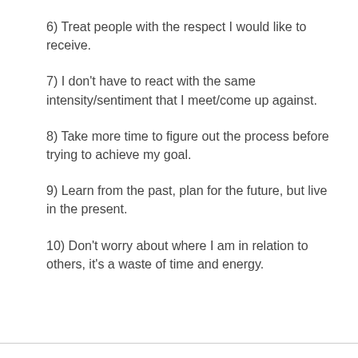6) Treat people with the respect I would like to receive.
7) I don't have to react with the same intensity/sentiment that I meet/come up against.
8) Take more time to figure out the process before trying to achieve my goal.
9) Learn from the past, plan for the future, but live in the present.
10) Don't worry about where I am in relation to others, it's a waste of time and energy.